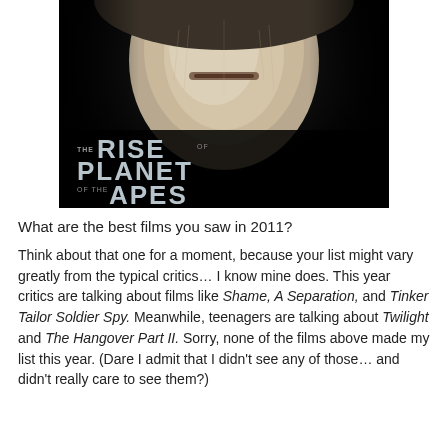[Figure (photo): Movie poster for 'Rise of the Planet of the Apes' showing a close-up of an ape's face (chin and lower face with light fur) against a black background, with the film's title in large metallic letters at the bottom left.]
What are the best films you saw in 2011?
Think about that one for a moment, because your list might vary greatly from the typical critics… I know mine does. This year critics are talking about films like Shame, A Separation, and Tinker Tailor Soldier Spy. Meanwhile, teenagers are talking about Twilight and The Hangover Part II. Sorry, none of the films above made my list this year. (Dare I admit that I didn't see any of those… and didn't really care to see them?)